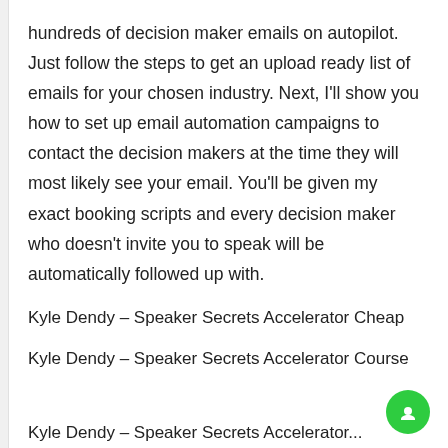hundreds of decision maker emails on autopilot. Just follow the steps to get an upload ready list of emails for your chosen industry. Next, I'll show you how to set up email automation campaigns to contact the decision makers at the time they will most likely see your email. You'll be given my exact booking scripts and every decision maker who doesn't invite you to speak will be automatically followed up with.
Kyle Dendy – Speaker Secrets Accelerator Cheap
Kyle Dendy – Speaker Secrets Accelerator Course
Kyle Dendy – Speaker Secrets Accelerator...